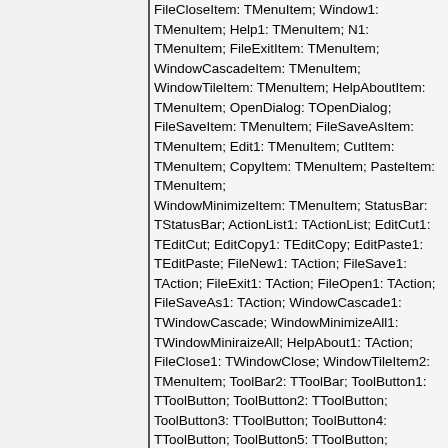FileCloseItem: TMenuItem; Window1: TMenuItem; Help1: TMenuItem; N1: TMenuItem; FileExitItem: TMenuItem; WindowCascadeItem: TMenuItem; WindowTileItem: TMenuItem; HelpAboutItem: TMenuItem; OpenDialog: TOpenDialog; FileSaveItem: TMenuItem; FileSaveAsItem: TMenuItem; Edit1: TMenuItem; CutItem: TMenuItem; CopyItem: TMenuItem; PasteItem: TMenuItem; WindowMinimizeItem: TMenuItem; StatusBar: TStatusBar; ActionList1: TActionList; EditCut1: TEditCut; EditCopy1: TEditCopy; EditPaste1: TEditPaste; FileNew1: TAction; FileSave1: TAction; FileExit1: TAction; FileOpen1: TAction; FileSaveAs1: TAction; WindowCascade1: TWindowCascade; WindowMinimizeAll1: TWindowMiniraizeAll; HelpAbout1: TAction; FileClose1: TWindowClose; WindowTileItem2: TMenuItem; ToolBar2: TToolBar; ToolButton1: TToolButton; ToolButton2: TToolButton; ToolButton3: TToolButton; ToolButton4: TToolButton; ToolButton5: TToolButton; ToolButton6: TToolButton; ToolButton9: TToolButton; ToolButton7: TToolButton; ToolButton8: TToolButtun; ToolButton10: TToolButton; ToolButton11: TToolButton; WindowClose1: TWindowClose; WindowTile1: TWindowTile; ToolButton12: TToolButton; ImageList1: TImageList;